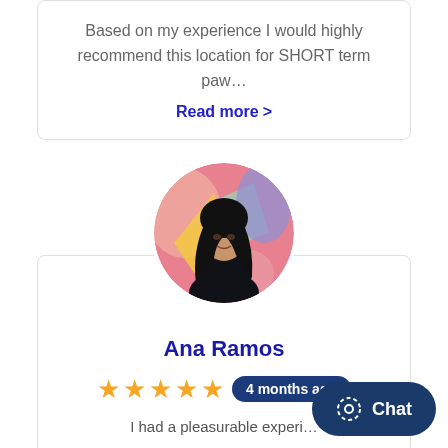Based on my experience I would highly recommend this location for SHORT term paw…
Read more >
[Figure (photo): Circular avatar photo of Ana Ramos, a young woman with long dark hair wearing a black off-shoulder top, posed in front of a colorful graffiti mural]
Ana Ramos
★★★★★  4 months ago
I had a pleasurable experi…